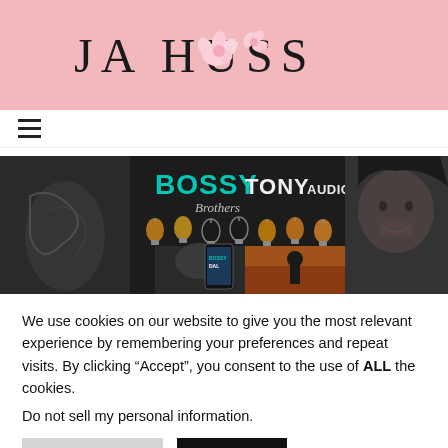JA HUSS
[Figure (illustration): Promotional banner for BOSSY TONY AUDIOBOOK by JA Huss — shows tattooed man's torso on left, decorative lightbulbs in center with teal/gold BOSSY TONY AUDIOBOOK text, a phone displaying the book cover, a couple silhouette at sunset, and a man's face in a hood on the right.]
We use cookies on our website to give you the most relevant experience by remembering your preferences and repeat visits. By clicking “Accept”, you consent to the use of ALL the cookies.
Do not sell my personal information.
Cookie Settings
Accept